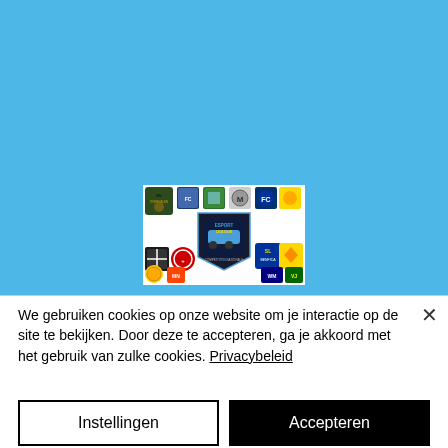[Figure (screenshot): Blue background webpage with esport league logo image in center showing multiple football club badges around an Esport League shield logo]
We gebruiken cookies op onze website om je interactie op de site te bekijken. Door deze te accepteren, ga je akkoord met het gebruik van zulke cookies. Privacybeleid
Instellingen
Accepteren